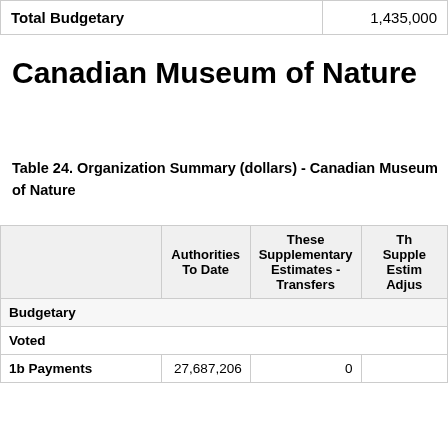|  |  |
| --- | --- |
| Total Budgetary | 1,435,000 |
Canadian Museum of Nature
Table 24. Organization Summary (dollars) - Canadian Museum of Nature
|  | Authorities To Date | These Supplementary Estimates - Transfers | These Supplementary Estimates - Adjustments |
| --- | --- | --- | --- |
| Budgetary |  |  |  |
| Voted |  |  |  |
| 1b Payments | 27,687,206 | 0 |  |